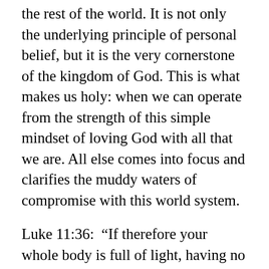the rest of the world. It is not only the underlying principle of personal belief, but it is the very cornerstone of the kingdom of God. This is what makes us holy: when we can operate from the strength of this simple mindset of loving God with all that we are. All else comes into focus and clarifies the muddy waters of compromise with this world system.
Luke 11:36: “If therefore your whole body is full of light, having no part dark, it will be wholly full of light, as when the lamp with its bright shining gives you light.”
More than providing light only for ourselves, this singleness of purpose will also allow our light penetration to shed light to others, that...